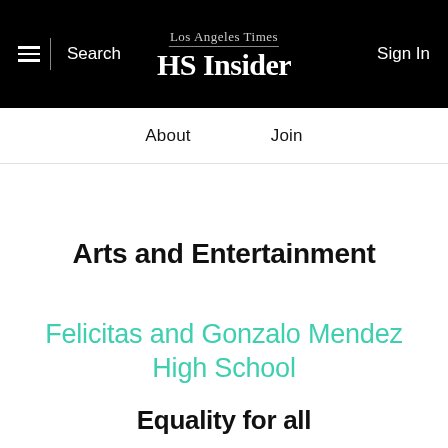Los Angeles Times HS Insider — Search | Sign In
About   Join
Arts and Entertainment
Felicitas and Gonzalo Mendez High School
Equality for all